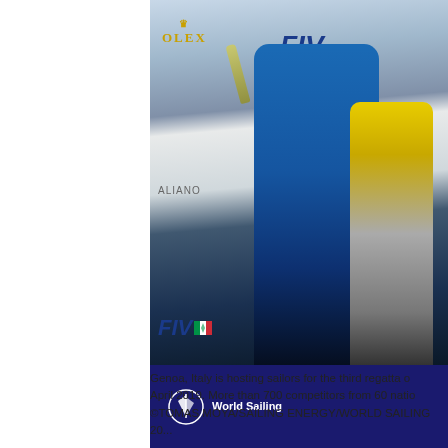[Figure (photo): Sailing competition podium photo showing athletes in blue and yellow suits celebrating with a champagne bottle and medals, in front of a backdrop with ROLEX, FIV, and ALIANO logos. World Sailing logo banner at bottom.]
Genoa, Italy is hosting sailors for the third regatta of April 2019. More than 700 competitors from 60 nations. ©TOMAS MOYA/SAILING ENERGY/WORLD SAILING 20...
The 49erFX fleet were the first fleet to sail. Heading Italy's Carlotta Omari and Matilda Distefano who led Olsen (DEN) by four points. The Dutch team were eig...